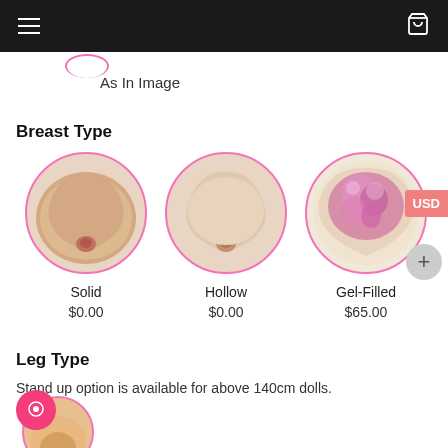As In Image
Breast Type
[Figure (photo): Three circular product option images showing breast types: Solid (skin-tone), Hollow (skin-tone), Gel-Filled (pink gel interior visible)]
Solid
$0.00
Hollow
$0.00
Gel-Filled
$65.00
Leg Type
Stand up option is available for above 140cm dolls.